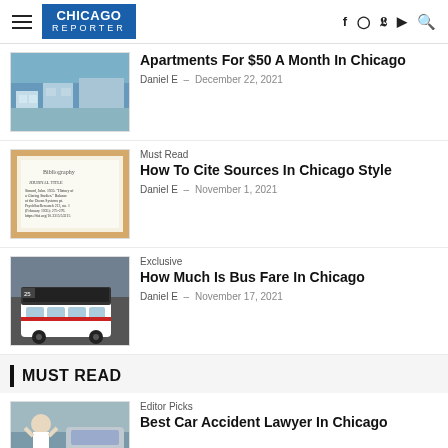CHICAGO REPORTER
Apartments For $50 A Month In Chicago
Daniel E - December 22, 2021
How To Cite Sources In Chicago Style
Must Read
Daniel E - November 1, 2021
How Much Is Bus Fare In Chicago
Exclusive
Daniel E - November 17, 2021
MUST READ
Editor Picks
Best Car Accident Lawyer In Chicago